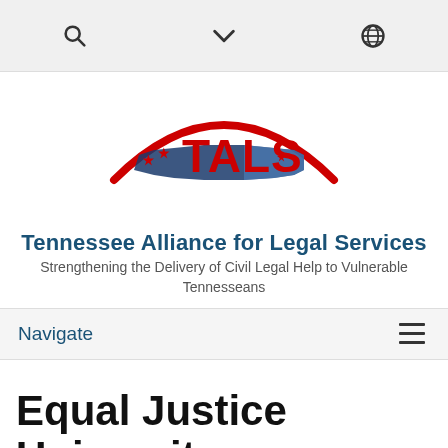toolbar with search, dropdown, and globe icons
[Figure (logo): TALS logo — Tennessee Alliance for Legal Services logo with red arc, blue Tennessee state shape, red stars, and red TALS lettering]
Tennessee Alliance for Legal Services
Strengthening the Delivery of Civil Legal Help to Vulnerable Tennesseans
Navigate
Equal Justice University Event Details